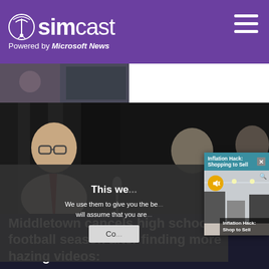simcast — Powered by Microsoft News
[Figure (screenshot): Screenshot of simcast news website powered by Microsoft News, showing a man speaking at a podium, a cookie consent overlay, an ad popup for 'Inflation Hack: Shopping to Sell', and an article headline about Middletown canceling high school football season]
Middletown cancels high school football season after finding more hazing videos: